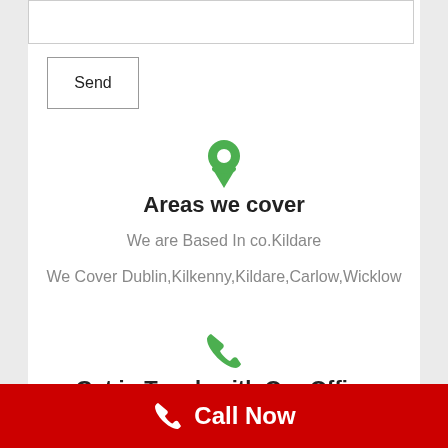[textarea - message input box]
Send
[Figure (illustration): Green map pin / location icon]
Areas we cover
We are Based In co.Kildare
We Cover Dublin,Kilkenny,Kildare,Carlow,Wicklow
[Figure (illustration): Green phone / telephone icon]
Get in Touch with Our Office
059 865 2981
This website uses cookies to improve your experience. Press the
Call Now